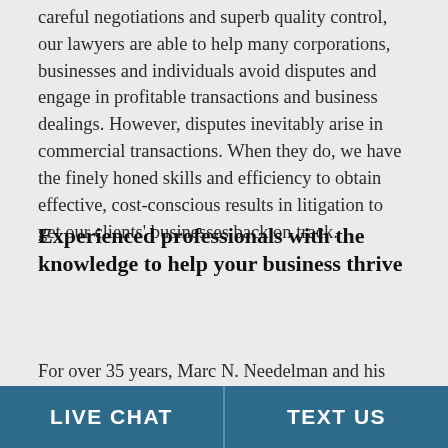careful negotiations and superb quality control, our lawyers are able to help many corporations, businesses and individuals avoid disputes and engage in profitable transactions and business dealings. However, disputes inevitably arise in commercial transactions. When they do, we have the finely honed skills and efficiency to obtain effective, cost-conscious results in litigation to get our clients' businesses back on track.
Experienced professionals with the knowledge to help your business thrive
For over 35 years, Marc N. Needelman and his legal team have resolved the legal dilemmas of business
LIVE CHAT   TEXT US